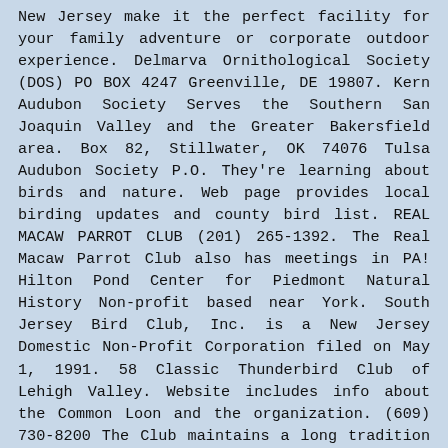New Jersey make it the perfect facility for your family adventure or corporate outdoor experience. Delmarva Ornithological Society (DOS) PO BOX 4247 Greenville, DE 19807. Kern Audubon Society Serves the Southern San Joaquin Valley and the Greater Bakersfield area. Box 82, Stillwater, OK 74076 Tulsa Audubon Society P.O. They're learning about birds and nature. Web page provides local birding updates and county bird list. REAL MACAW PARROT CLUB (201) 265-1392. The Real Macaw Parrot Club also has meetings in PA! Hilton Pond Center for Piedmont Natural History Non-profit based near York. South Jersey Bird Club, Inc. is a New Jersey Domestic Non-Profit Corporation filed on May 1, 1991. 58 Classic Thunderbird Club of Lehigh Valley. Website includes info about the Common Loon and the organization. (609) 730-8200 The Club maintains a long tradition of an annual May bird count and county bird festival as the...